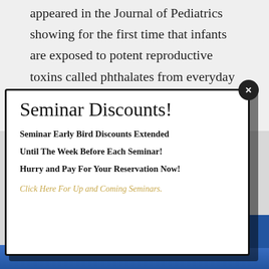appeared in the Journal of Pediatrics showing for the first time that infants are exposed to potent reproductive toxins called phthalates from everyday baby products, including shampoo, lotion, and powder.4
Seminar Discounts!
Seminar Early Bird Discounts Extended Until The Week Before Each Seminar! Hurry and Pay For Your Reservation Now!
Click Here For Up and Coming Seminars.